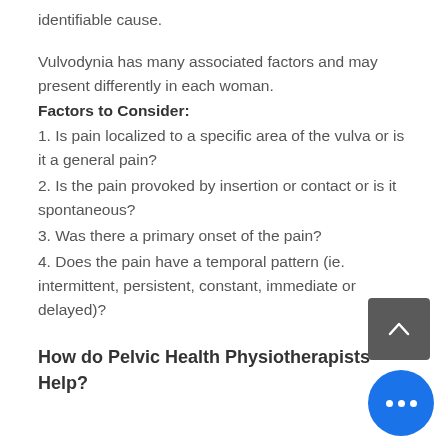identifiable cause.
Vulvodynia has many associated factors and may present differently in each woman.
Factors to Consider:
1. Is pain localized to a specific area of the vulva or is it a general pain?
2. Is the pain provoked by insertion or contact or is it spontaneous?
3. Was there a primary onset of the pain?
4. Does the pain have a temporal pattern (ie. intermittent, persistent, constant, immediate or delayed)?
How do Pelvic Health Physiotherapists Help?